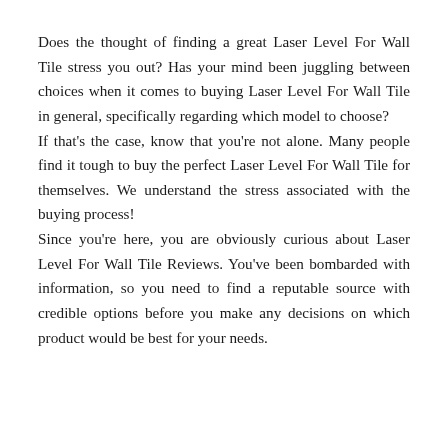Does the thought of finding a great Laser Level For Wall Tile stress you out? Has your mind been juggling between choices when it comes to buying Laser Level For Wall Tile in general, specifically regarding which model to choose?
If that's the case, know that you're not alone. Many people find it tough to buy the perfect Laser Level For Wall Tile for themselves. We understand the stress associated with the buying process!
Since you're here, you are obviously curious about Laser Level For Wall Tile Reviews. You've been bombarded with information, so you need to find a reputable source with credible options before you make any decisions on which product would be best for your needs.